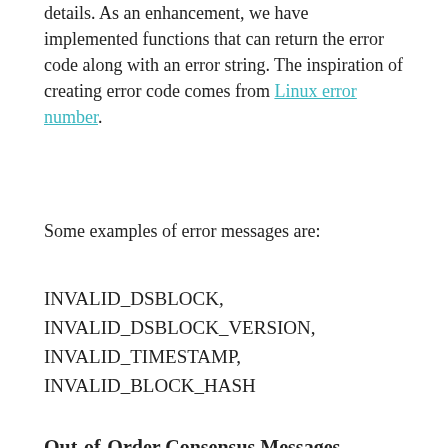details. As an enhancement, we have implemented functions that can return the error code along with an error string. The inspiration of creating error code comes from Linux error number.
Some examples of error messages are:
INVALID_DSBLOCK,
INVALID_DSBLOCK_VERSION,
INVALID_TIMESTAMP,
INVALID_BLOCK_HASH
Out-of-Order Consensus Messages
Out-of-order consensus messages can cause the consensus to fail. In particular, there is the following dependency: the consensus leader first makes an announcement regarding a block, then the other nodes run a multi-signature protocol (S1)...